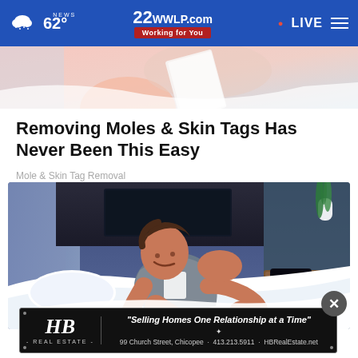62° • 22WWLP.com Working for You • LIVE
[Figure (illustration): Partial illustration visible at top — pink/peach tones, appears to be a cropped portion of an image]
Removing Moles & Skin Tags Has Never Been This Easy
Mole & Skin Tag Removal
[Figure (illustration): Digital illustration of a man sitting on a bed in a bedroom, reaching toward his ankle. Background includes a dark headboard with TV screen, nightstand with clock showing 01:37, and a potted plant.]
[Figure (other): HB Real Estate advertisement banner: 'Selling Homes One Relationship at a Time' - 99 Church Street, Chicopee - 413.213.5911 - HBRealEstate.net]